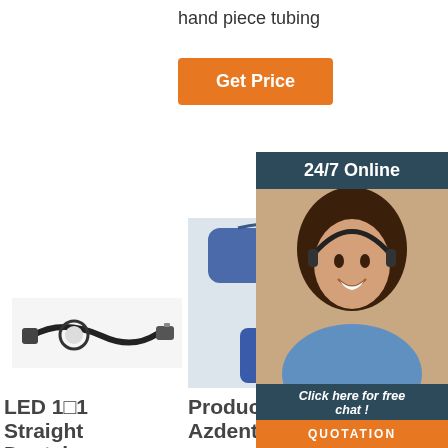hand piece tubing
Get Price
24/7 Online
[Figure (photo): Customer service representative woman with headset smiling]
Click here for free chat !
QUOTATION
[Figure (photo): Small black dental handpiece cable/connector]
[Figure (photo): Dental product showing handpiece and charging/docking unit in blue]
[Figure (photo): Green and grey device partially visible]
LED 1✕1 Straight Dental Handpiece Buy Or Shop Online
Products — Azdent.Com
Che... Dem... Chairs - Chesa Prestige Hasteflex Dental ...
Azdent.com online dental store mainly sells dental devices, dental
[Figure (logo): TOP logo with orange dots triangle above]